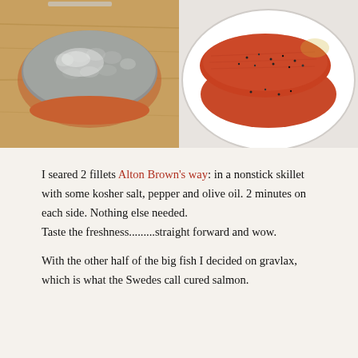[Figure (photo): Two side-by-side photos of salmon fillets. Left photo shows a raw salmon fillet skin-side up on a wooden cutting board, displaying silvery-grey skin. Right photo shows two seasoned salmon fillets flesh-side up on a white plate, with visible black pepper seasoning on the bright orange-red flesh.]
I seared 2 fillets Alton Brown's way: in a nonstick skillet with some kosher salt, pepper and olive oil. 2 minutes on each side. Nothing else needed.
Taste the freshness.........straight forward and wow.
With the other half of the big fish I decided on gravlax, which is what the Swedes call cured salmon.